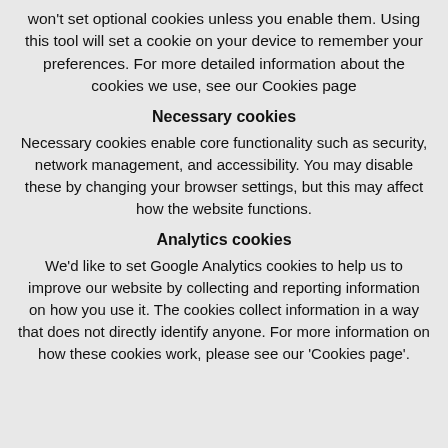won't set optional cookies unless you enable them. Using this tool will set a cookie on your device to remember your preferences. For more detailed information about the cookies we use, see our Cookies page
Necessary cookies
Necessary cookies enable core functionality such as security, network management, and accessibility. You may disable these by changing your browser settings, but this may affect how the website functions.
Analytics cookies
We'd like to set Google Analytics cookies to help us to improve our website by collecting and reporting information on how you use it. The cookies collect information in a way that does not directly identify anyone. For more information on how these cookies work, please see our 'Cookies page'.